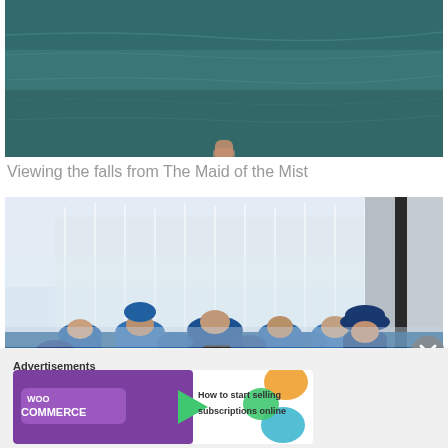[Figure (photo): Top photo showing water surface of Niagara Falls, teal-green water with ripples, partial view of a hand or object at bottom center]
Viewing the falls from The Maid of the Mist
[Figure (photo): Photo of tourists in blue rain ponchos on the Maid of the Mist boat, viewing Niagara Falls waterfall with mist surrounding them]
Advertisements
[Figure (other): WooCommerce advertisement banner: 'How to start selling subscriptions online']